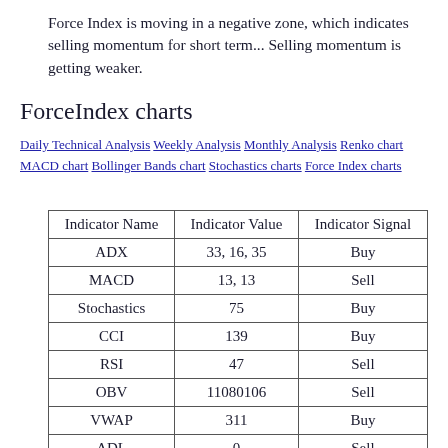Force Index is moving in a negative zone, which indicates selling momentum for short term... Selling momentum is getting weaker.
ForceIndex charts
Daily Technical Analysis Weekly Analysis Monthly Analysis Renko chart MACD chart Bollinger Bands chart Stochastics charts Force Index charts
| Indicator Name | Indicator Value | Indicator Signal |
| --- | --- | --- |
| ADX | 33, 16, 35 | Buy |
| MACD | 13, 13 | Sell |
| Stochastics | 75 | Buy |
| CCI | 139 | Buy |
| RSI | 47 | Sell |
| OBV | 11080106 | Sell |
| VWAP | 311 | Buy |
| ADL | 0 | Sell |